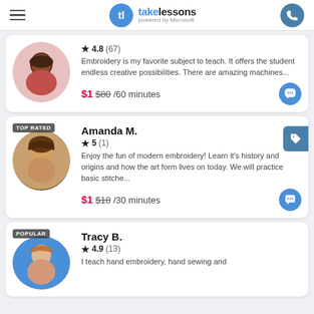takelessons powered by Microsoft
[Figure (screenshot): First instructor card: 4.8 stars (67 reviews), embroidery teacher, $1 intro price (was $80), 60 minutes]
[Figure (screenshot): Second instructor card: Amanda M., TOP RATED, 5 stars (1 review), $1 intro price (was $18), 30 minutes]
[Figure (screenshot): Third instructor card: Tracy B., POPULAR, 4.9 stars (13 reviews), hand embroidery teacher]